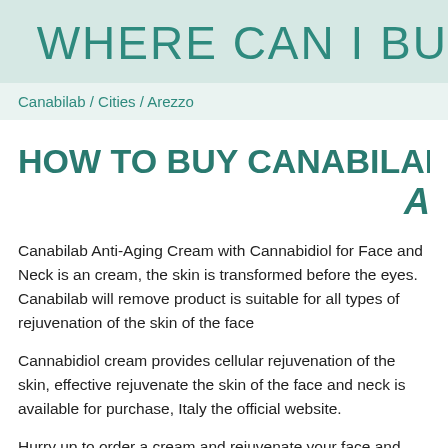WHERE CAN I BU
Canabilab / Cities / Arezzo
HOW TO BUY CANABILAB FOR A
Canabilab Anti-Aging Cream with Cannabidiol for Face and Neck is an cream, the skin is transformed before the eyes. Canabilab will remove product is suitable for all types of rejuvenation of the skin of the face
Cannabidiol cream provides cellular rejuvenation of the skin, effective rejuvenate the skin of the face and neck is available for purchase, Italy the official website.
Hurry up to order a cream and rejuvenate your face and neck, becaus